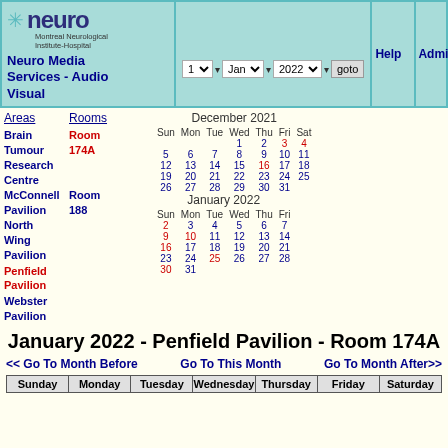Neuro Media Services - Audio Visual - Navigation header with date controls: 1, Jan, 2022, goto, Help, Admin, Re
Areas | Rooms
Brain Tumour Research Centre | Room 174A
McConnell Pavilion North Wing Pavilion | Room 188
Penfield Pavilion
Webster Pavilion
| Sun | Mon | Tue | Wed | Thu | Fri | Sat |
| --- | --- | --- | --- | --- | --- | --- |
|  |  |  | 1 | 2 | 3 | 4 |
| 5 | 6 | 7 | 8 | 9 | 10 | 11 |
| 12 | 13 | 14 | 15 | 16 | 17 | 18 |
| 19 | 20 | 21 | 22 | 23 | 24 | 25 |
| 26 | 27 | 28 | 29 | 30 | 31 |  |
| Sun | Mon | Tue | Wed | Thu | Fri |
| --- | --- | --- | --- | --- | --- |
|  |  |  |  |  |  |  |
| 2 | 3 | 4 | 5 | 6 | 7 |  |
| 9 | 10 | 11 | 12 | 13 | 14 |  |
| 16 | 17 | 18 | 19 | 20 | 21 |  |
| 23 | 24 | 25 | 26 | 27 | 28 |  |
| 30 | 31 |  |  |  |  |  |
January 2022 - Penfield Pavilion - Room 174A
<< Go To Month Before    Go To This Month    Go To Month After>>
| Sunday | Monday | Tuesday | Wednesday | Thursday | Friday | Saturday |
| --- | --- | --- | --- | --- | --- | --- |